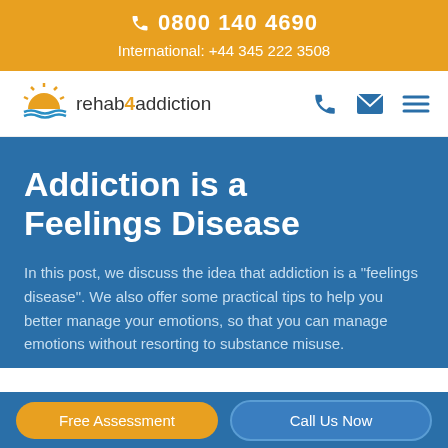📞 0800 140 4690
International: +44 345 222 3508
[Figure (logo): rehab4addiction logo with sun/sunrise icon and the text 'rehab4addiction' where '4' is highlighted in orange]
Addiction is a Feelings Disease
In this post, we discuss the idea that addiction is a "feelings disease". We also offer some practical tips to help you better manage your emotions, so that you can manage emotions without resorting to substance misuse.
Free Assessment
Call Us Now